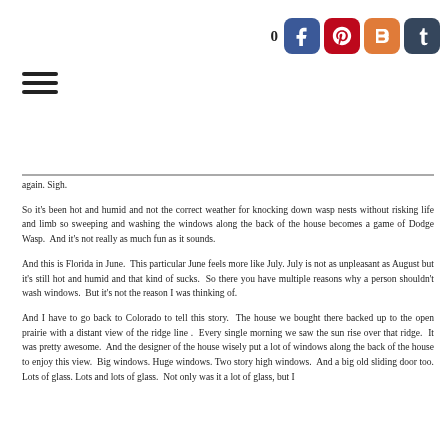0 [social share icons: Facebook, Pinterest, Blogger, Tumblr]
[Figure (other): Hamburger menu icon (three horizontal lines)]
again. Sigh.
So it's been hot and humid and not the correct weather for knocking down wasp nests without risking life and limb so sweeping and washing the windows along the back of the house becomes a game of Dodge Wasp. And it's not really as much fun as it sounds.
And this is Florida in June. This particular June feels more like July. July is not as unpleasant as August but it's still hot and humid and that kind of sucks. So there you have multiple reasons why a person shouldn't wash windows. But it's not the reason I was thinking of.
And I have to go back to Colorado to tell this story. The house we bought there backed up to the open prairie with a distant view of the ridge line. Every single morning we saw the sun rise over that ridge. It was pretty awesome. And the designer of the house wisely put a lot of windows along the back of the house to enjoy this view. Big windows. Huge windows. Two story high windows. And a big old sliding door too. Lots of glass. Lots and lots of glass. Not only was it a lot of glass, but I